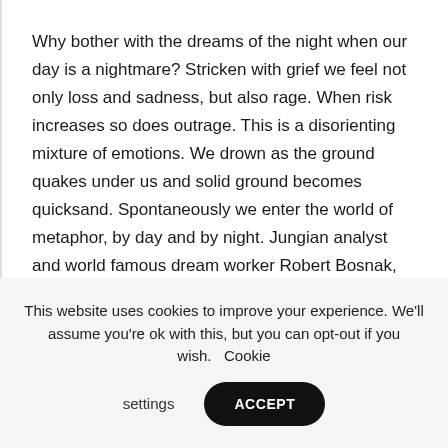Why bother with the dreams of the night when our day is a nightmare? Stricken with grief we feel not only loss and sadness, but also rage. When risk increases so does outrage. This is a disorienting mixture of emotions. We drown as the ground quakes under us and solid ground becomes quicksand. Spontaneously we enter the world of metaphor, by day and by night. Jungian analyst and world famous dream worker Robert Bosnak, who has worked professionally with dreams for fifty years, believes that people vividly remember the pandemic dreams because they are strikingly powerful.
This website uses cookies to improve your experience. We'll assume you're ok with this, but you can opt-out if you wish. Cookie settings ACCEPT